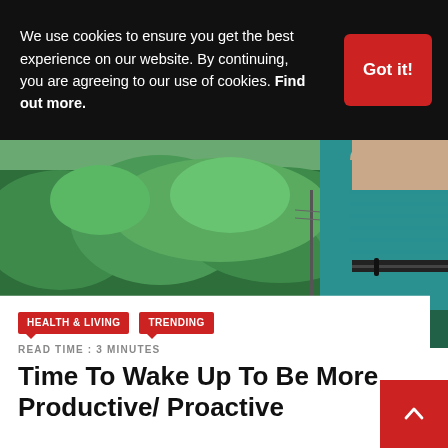We use cookies to ensure you get the best experience on our website. By continuing, you are agreeing to our use of cookies. Find out more.
[Figure (photo): Person in a teal knit sweater raising their hand outdoors with green forested hills in the background and power lines visible]
HEALTH & LIVING   TRENDING
READ TIME : 3 MINUTES
Time To Wake Up To Be More Productive/ Proactive